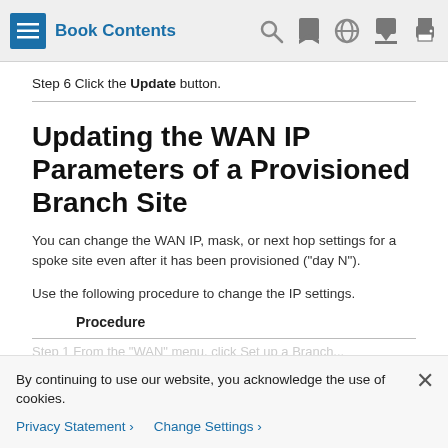Book Contents
Step 6 Click the Update button.
Updating the WAN IP Parameters of a Provisioned Branch Site
You can change the WAN IP, mask, or next hop settings for a spoke site even after it has been provisioned ("day N").
Use the following procedure to change the IP settings.
Procedure
By continuing to use our website, you acknowledge the use of cookies.
Privacy Statement > Change Settings >